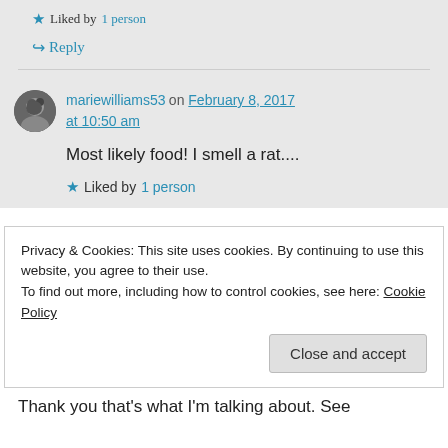★ Liked by 1 person
↪ Reply
mariewilliams53 on February 8, 2017 at 10:50 am
Most likely food! I smell a rat....
★ Liked by 1 person
Privacy & Cookies: This site uses cookies. By continuing to use this website, you agree to their use.
To find out more, including how to control cookies, see here: Cookie Policy
Close and accept
Thank you that's what I'm talking about. See